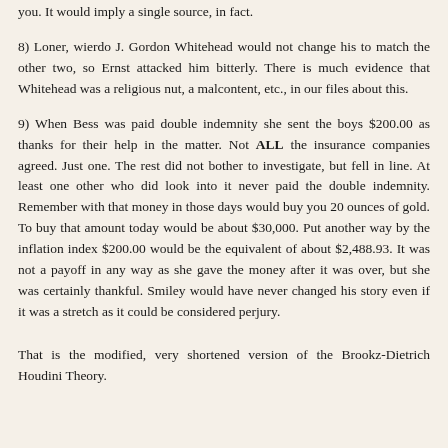you. It would imply a single source, in fact.
8) Loner, wierdo J. Gordon Whitehead would not change his to match the other two, so Ernst attacked him bitterly. There is much evidence that Whitehead was a religious nut, a malcontent, etc., in our files about this.
9) When Bess was paid double indemnity she sent the boys $200.00 as thanks for their help in the matter. Not ALL the insurance companies agreed. Just one. The rest did not bother to investigate, but fell in line. At least one other who did look into it never paid the double indemnity. Remember with that money in those days would buy you 20 ounces of gold. To buy that amount today would be about $30,000. Put another way by the inflation index $200.00 would be the equivalent of about $2,488.93. It was not a payoff in any way as she gave the money after it was over, but she was certainly thankful. Smiley would have never changed his story even if it was a stretch as it could be considered perjury.
That is the modified, very shortened version of the Brookz-Dietrich Houdini Theory.